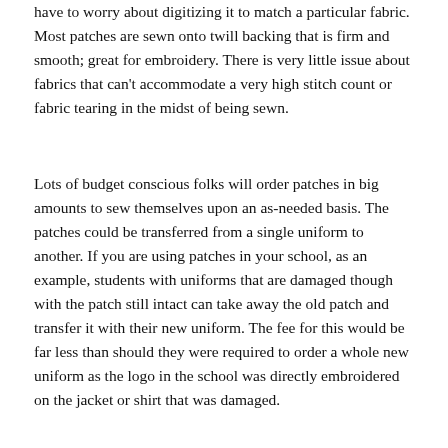have to worry about digitizing it to match a particular fabric. Most patches are sewn onto twill backing that is firm and smooth; great for embroidery. There is very little issue about fabrics that can't accommodate a very high stitch count or fabric tearing in the midst of being sewn.
Lots of budget conscious folks will order patches in big amounts to sew themselves upon an as-needed basis. The patches could be transferred from a single uniform to another. If you are using patches in your school, as an example, students with uniforms that are damaged though with the patch still intact can take away the old patch and transfer it with their new uniform. The fee for this would be far less than should they were required to order a whole new uniform as the logo in the school was directly embroidered on the jacket or shirt that was damaged.